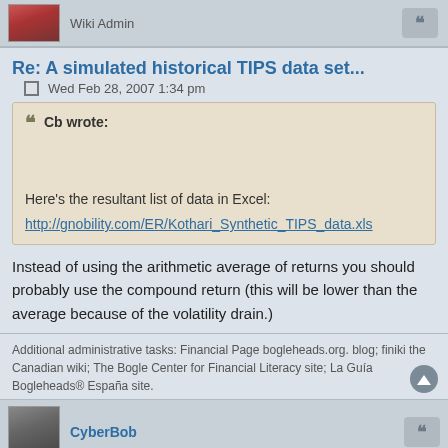Wiki Admin
Re: A simulated historical TIPS data set...
Wed Feb 28, 2007 1:34 pm
Cb wrote:

Here's the resultant list of data in Excel:

http://gnobility.com/ER/Kothari_Synthetic_TIPS_data.xls
Instead of using the arithmetic average of returns you should probably use the compound return (this will be lower than the average because of the volatility drain.)
Additional administrative tasks: Financial Page bogleheads.org. blog; finiki the Canadian wiki; The Bogle Center for Financial Literacy site; La Guía Bogleheads® España site.
CyberBob
TIPS vs. Nominal Treasuries